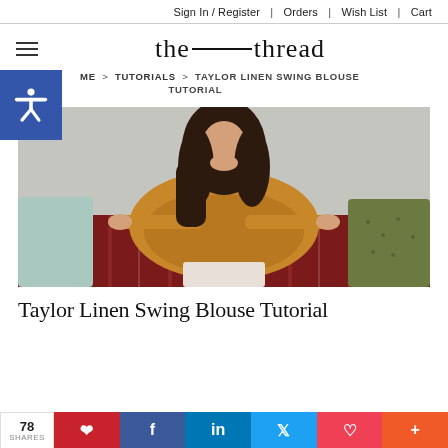Sign In / Register | Orders | Wish List | Cart
the ——— thread
ME > TUTORIALS > TAYLOR LINEN SWING BLOUSE TUTORIAL
[Figure (photo): Woman wearing a mustard/golden yellow linen swing blouse, sitting on a dark red striped sofa with pillows, looking down. Gray wall background.]
Taylor Linen Swing Blouse Tutorial
78 SHARES | Pinterest | Facebook | LinkedIn | Twitter | Pocket | +